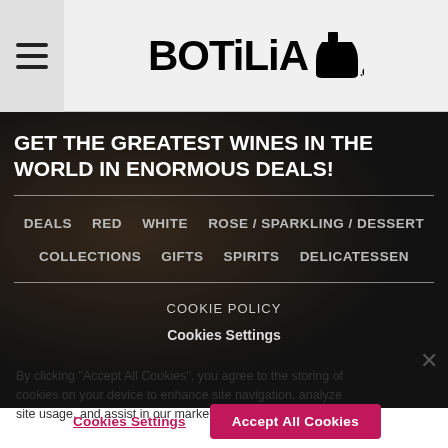BOTiLiA .GR
GET THE GREATEST WINES IN THE WORLD IN ENORMOUS DEALS!
DEALS   RED   WHITE   ROSE / SPARKLING / DESSERT
COLLECTIONS   GIFTS   SPIRITS   DELICATESSEN
COOKIE POLICY
Cookies Settings
By clicking “Accept All Cookies”, you agree to the storing of cookies on your device to enhance site navigation, analyze site usage, and assist in our marketing efforts.
Cookies Settings   Accept All Cookies